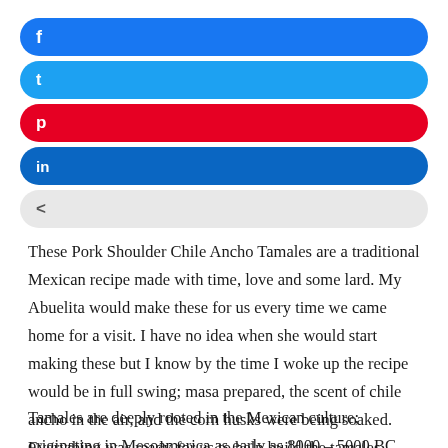[Figure (infographic): Social media share buttons: Facebook (blue), Twitter (light blue), Pinterest (red), LinkedIn (dark blue), and a generic share button (grey), each as rounded pill-shaped bars with icons on the left.]
These Pork Shoulder Chile Ancho Tamales are a traditional Mexican recipe made with time, love and some lard. My Abuelita would make these for us every time we came home for a visit. I have no idea when she would start making these but I know by the time I woke up the recipe would be in full swing; masa prepared, the scent of chile ancho in the air, and the corn husks were being soaked. Everything was ready for us to help build the tamales.
Tamales are deeply rooted in the Mexican culture; originating in Mesoamerica as early as 8000 – 5000 BC. The tamal consists of